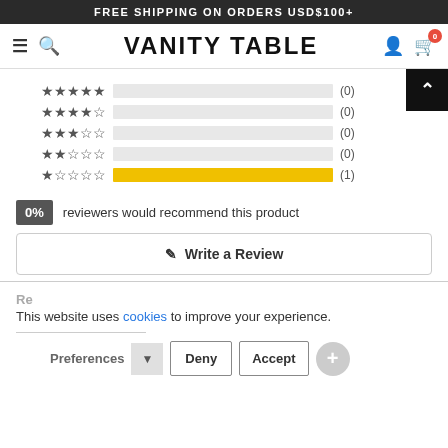FREE SHIPPING ON ORDERS USD$100+
VANITY TABLE
[Figure (infographic): Star rating breakdown: 5 stars (0), 4 stars (0), 3 stars (0), 2 stars (0), 1 star (1). 0% reviewers would recommend this product.]
0% reviewers would recommend this product
Write a Review
This website uses cookies to improve your experience.
Preferences  Deny  Accept